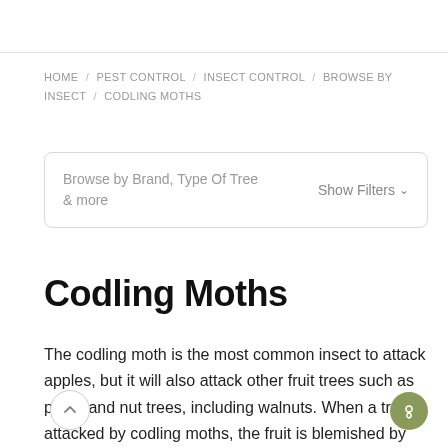HOME / PEST CONTROL / INSECT CONTROL / BROWSE BY INSECT / CODLING MOTHS
Browse by Brand, Type Of Tree & more   Show Filters
Codling Moths
The codling moth is the most common insect to attack apples, but it will also attack other fruit trees such as pears and nut trees, including walnuts. When a tree is attacked by codling moths, the fruit is blemished by small holes surrounded by dead tissue. A small sawdust-like